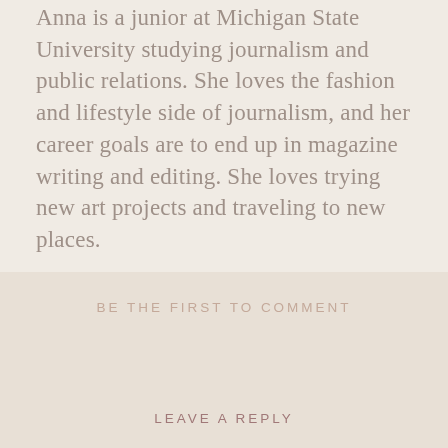Anna is a junior at Michigan State University studying journalism and public relations. She loves the fashion and lifestyle side of journalism, and her career goals are to end up in magazine writing and editing. She loves trying new art projects and traveling to new places.
BE THE FIRST TO COMMENT
LEAVE A REPLY